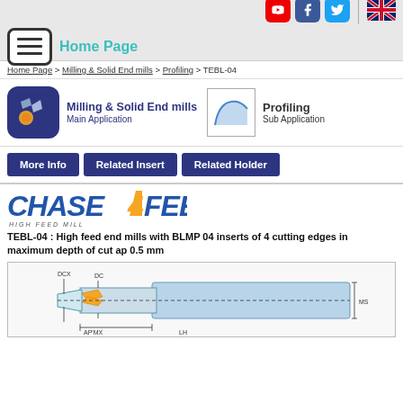Home Page
Home Page > Milling & Solid End mills > Profiling > TEBL-04
[Figure (infographic): Milling & Solid End mills Main Application icon with Profiling Sub Application icon]
[Figure (infographic): Navigation buttons: More Info, Related Insert, Related Holder]
[Figure (logo): CHASE4FEED logo with HIGH FEED MILL subtitle]
TEBL-04 : High feed end mills with BLMP 04 inserts of 4 cutting edges in maximum depth of cut ap 0.5 mm
[Figure (engineering-diagram): Technical drawing of TEBL-04 end mill tool showing DCX, DC, AP'MX, LH, MS dimensions with cutting inserts]